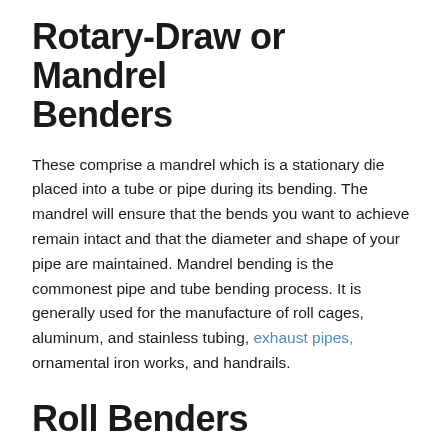Rotary-Draw or Mandrel Benders
These comprise a mandrel which is a stationary die placed into a tube or pipe during its bending. The mandrel will ensure that the bends you want to achieve remain intact and that the diameter and shape of your pipe are maintained. Mandrel bending is the commonest pipe and tube bending process. It is generally used for the manufacture of roll cages, aluminum, and stainless tubing, exhaust pipes, ornamental iron works, and handrails.
Roll Benders